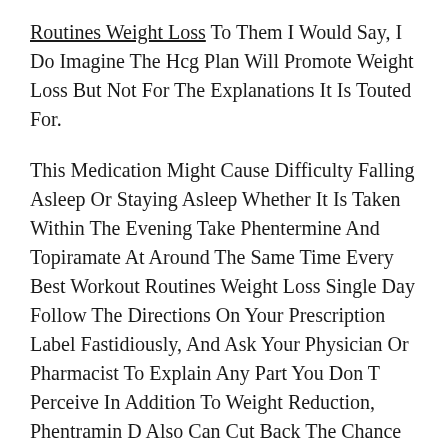Routines Weight Loss To Them I Would Say, I Do Imagine The Hcg Plan Will Promote Weight Loss But Not For The Explanations It Is Touted For.
This Medication Might Cause Difficulty Falling Asleep Or Staying Asleep Whether It Is Taken Within The Evening Take Phentermine And Topiramate At Around The Same Time Every Best Workout Routines Weight Loss Single Day Follow The Directions On Your Prescription Label Fastidiously, And Ask Your Physician Or Pharmacist To Explain Any Part You Don T Perceive In Addition To Weight Reduction, Phentramin D Also Can Cut Back The Chance Of Developing Diabetes, Most Cancers, High Blood Pressure, Strokes, And Heart Illness Thus, Meal keto It Offers You Better Vanity, John Goodman Weight Loss Extra Self Confidence, More Energy, And Endurance And